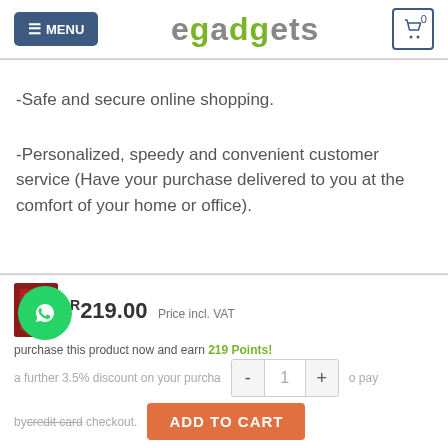MENU | egadgets | 0
-Safe and secure online shopping.
-Personalized, speedy and convenient customer service (Have your purchase delivered to you at the comfort of your home or office).
R219.00 Price incl. VAT
purchase this product now and earn 219 Points!
a further 3.5% discount on your purchase if you pay by credit card checkout.